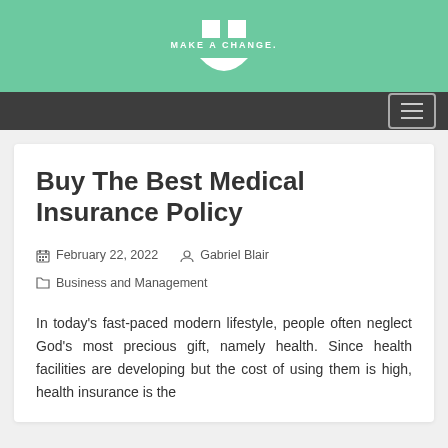MAKE A CHANGE
Buy The Best Medical Insurance Policy
February 22, 2022  Gabriel Blair  Business and Management
In today's fast-paced modern lifestyle, people often neglect God's most precious gift, namely health. Since health facilities are developing but the cost of using them is high, health insurance is the